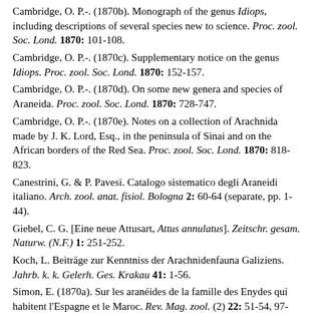Cambridge, O. P.-. (1870b). Monograph of the genus Idiops, including descriptions of several species new to science. Proc. zool. Soc. Lond. 1870: 101-108.
Cambridge, O. P.-. (1870c). Supplementary notice on the genus Idiops. Proc. zool. Soc. Lond. 1870: 152-157.
Cambridge, O. P.-. (1870d). On some new genera and species of Araneida. Proc. zool. Soc. Lond. 1870: 728-747.
Cambridge, O. P.-. (1870e). Notes on a collection of Arachnida made by J. K. Lord, Esq., in the peninsula of Sinai and on the African borders of the Red Sea. Proc. zool. Soc. Lond. 1870: 818-823.
Canestrini, G. & P. Pavesi. Catalogo sistematico degli Araneidi italiano. Arch. zool. anat. fisiol. Bologna 2: 60-64 (separate, pp. 1-44).
Giebel, C. G. [Eine neue Attusart, Attus annulatus]. Zeitschr. gesam. Naturw. (N.F.) 1: 251-252.
Koch, L. Beiträge zur Kenntniss der Arachnidenfauna Galiziens. Jahrb. k. k. Gelerh. Ges. Krakau 41: 1-56.
Simon, E. (1870a). Sur les aranéides de la famille des Enydes qui habitent l'Espagne et le Maroc. Rev. Mag. zool. (2) 22: 51-54, 97-103, 142-148.
Simon, E. (1870b). Aranéides noveaux ou peu connus du midi de l'Europe. sulle specie europee della famiglia degli Attidi. Mém. Soc. roy. sci. Liège (2) 3: 271-358.
Thorell, T. (1870a). Remarks on synonyms of European spiders. Part I. Uppsala, pp. 1-96.